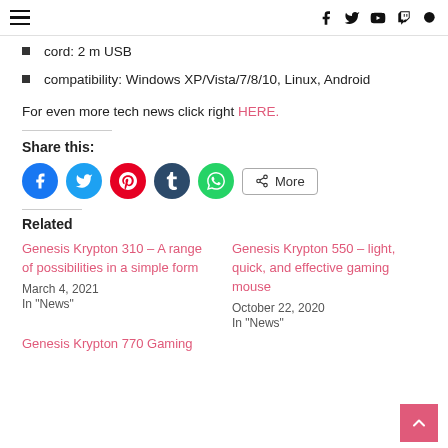≡  f  𝕏  ▶  🎮  🔍
cord: 2 m USB
compatibility: Windows XP/Vista/7/8/10, Linux, Android
For even more tech news click right HERE.
Share this:
[Figure (infographic): Social share buttons: Facebook, Twitter, Pinterest, Tumblr, WhatsApp, More]
Related
Genesis Krypton 310 – A range of possibilities in a simple form
March 4, 2021
In "News"
Genesis Krypton 550 – light, quick, and effective gaming mouse
October 22, 2020
In "News"
Genesis Krypton 770 Gaming